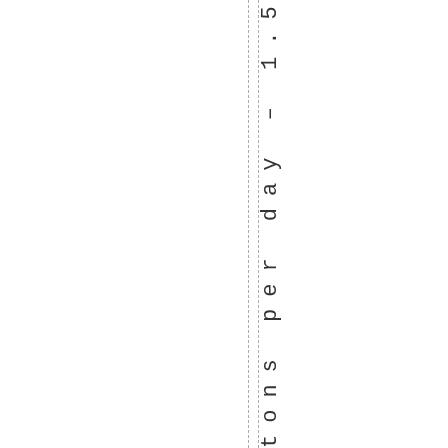tons per day – 1.53 .Digested manure